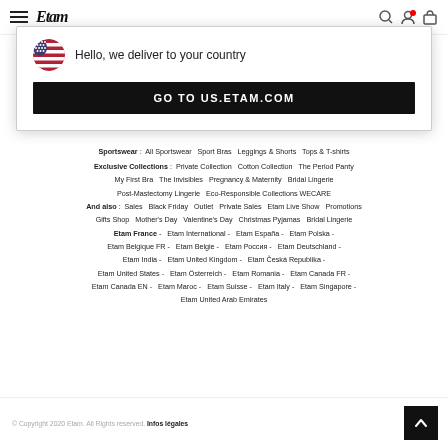Etam - header with hamburger menu, logo, icons
[Figure (screenshot): Modal popup with US flag icon, 'Hello, we deliver to your country' message and 'GO TO US.ETAM.COM' button]
Sportswear : All Sportswear  Sport Bras  Leggings & Shorts  Tops & T-shirts
Exclusive Collections :  Private Collection  Cotton Collection  The Period Panty  My First Bra  The Invisibles  Pregnancy & Maternity  Bridal Lingerie  Post-Mastectomy Lingerie  Eco-Responsible Collections WECARE
And also :  Sales  Black Friday  Outlet  Private Sales  Etam Live Show  Promotions  Gifts Shop  Mother's Day  Valentine's Day  Christmas Pyjamas  Bridal Lingerie
Etam France -  Etam International -  Etam España -  Etam Polska -  Etam Belgique FR -  Etam Belgie -  Etam Россия -  Etam Deutschland -  Etam India -  Etam United Kingdom -  Etam Česká Republika -  Etam United States -  Etam Österreich -  Etam Romania -  Etam Canada FR -  Etam Canada EN -  Etam Maroc -  Etam Suisse -  Etam Italy -  Etam Singapore -  Etam United Arab Emirates
© Copyright 2020 Etam. All Rights reserved.  Infos légales